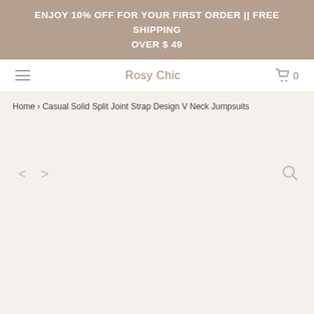ENJOY 10% OFF FOR YOUR FIRST ORDER || FREE SHIPPING OVER $ 49
Rosy Chic
Home › Casual Solid Split Joint Strap Design V Neck Jumpsuits
[Figure (photo): Product image viewer area with left/right navigation arrows and zoom icon. The main image area is empty (product not loaded). Navigation controls: < and > arrows on the left, magnifying glass icon on the right.]